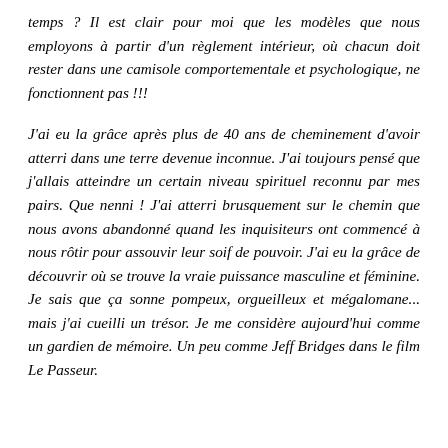temps ? Il est clair pour moi que les modèles que nous employons à partir d'un règlement intérieur, où chacun doit rester dans une camisole comportementale et psychologique, ne fonctionnent pas !!!
J'ai eu la grâce après plus de 40 ans de cheminement d'avoir atterri dans une terre devenue inconnue. J'ai toujours pensé que j'allais atteindre un certain niveau spirituel reconnu par mes pairs. Que nenni ! J'ai atterri brusquement sur le chemin que nous avons abandonné quand les inquisiteurs ont commencé à nous rôtir pour assouvir leur soif de pouvoir. J'ai eu la grâce de découvrir où se trouve la vraie puissance masculine et féminine. Je sais que ça sonne pompeux, orgueilleux et mégalomane... mais j'ai cueilli un trésor. Je me considère aujourd'hui comme un gardien de mémoire. Un peu comme Jeff Bridges dans le film Le Passeur.